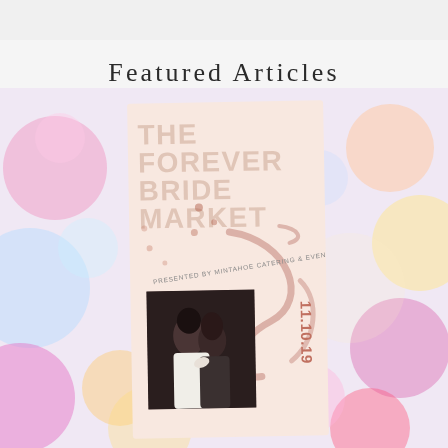Featured Articles
[Figure (photo): A wedding flyer card titled 'The Forever Bride Market', presented by Mintahoe Catering & Events, dated 11.10.19, with a couple kissing, set against a colorful bokeh balloon background.]